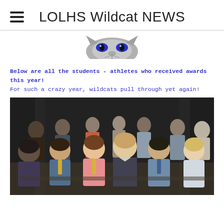LOLHS Wildcat NEWS
[Figure (logo): LOLHS Wildcat mascot logo — partial wildcat face/eyes in blue and grey]
Below are all the students - athletes who received awards this year! For such a crazy year, wildcats pull through yet again!
[Figure (photo): Group photo of student-athletes seated and standing in rows on a stage with dark curtain backdrop, dressed in semi-formal attire]